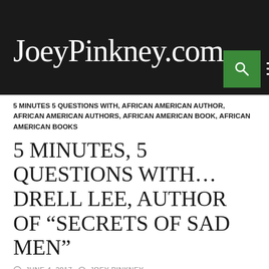JoeyPinkney.com
5 MINUTES 5 QUESTIONS WITH, AFRICAN AMERICAN AUTHOR, AFRICAN AMERICAN AUTHORS, AFRICAN AMERICAN BOOK, AFRICAN AMERICAN BOOKS
5 MINUTES, 5 QUESTIONS WITH… DRELL LEE, AUTHOR OF “SECRETS OF SAD MEN”
JUNE 4, 2017   JOEY PINKNEY
JoeyPinkney.com Exclusive Interview
5 Minutes, 5 Questions With…